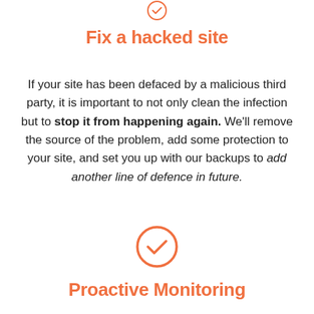[Figure (illustration): Orange circle with checkmark icon, partially visible at top of page]
Fix a hacked site
If your site has been defaced by a malicious third party, it is important to not only clean the infection but to stop it from happening again. We'll remove the source of the problem, add some protection to your site, and set you up with our backups to add another line of defence in future.
[Figure (illustration): Orange circle with checkmark icon]
Proactive Monitoring